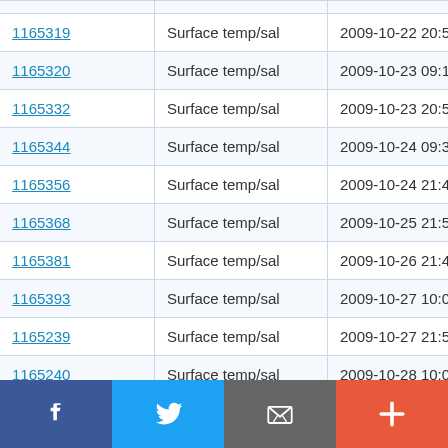| ID | Type | Date/Time | Value |
| --- | --- | --- | --- |
| 1165319 | Surface temp/sal | 2009-10-22 20:54:21 | 53.331 N |
| 1165320 | Surface temp/sal | 2009-10-23 09:14:41 | 53.337 N |
| 1165332 | Surface temp/sal | 2009-10-23 20:56:02 | 53.331 N |
| 1165344 | Surface temp/sal | 2009-10-24 09:36:42 | 53.337 N |
| 1165356 | Surface temp/sal | 2009-10-24 21:45:52 | 53.331 N |
| 1165368 | Surface temp/sal | 2009-10-25 21:57:24 | 53.336 N |
| 1165381 | Surface temp/sal | 2009-10-26 21:46:45 | 53.329 N |
| 1165393 | Surface temp/sal | 2009-10-27 10:07:55 | 53.338 N |
| 1165239 | Surface temp/sal | 2009-10-27 21:56:06 | 53.33 N |
| 1165240 | Surface temp/sal | 2009-10-28 10:00:46 | 53.338 N |
[Figure (infographic): Social media sharing bar with Facebook, Twitter, Email, and Plus buttons]